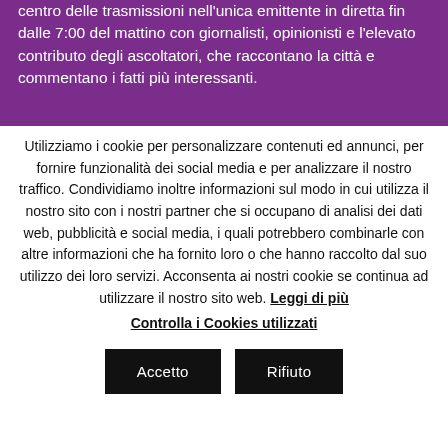centro delle trasmissioni nell'unica emittente in diretta fin dalle 7:00 del mattino con giornalisti, opinionisti e l'elevato contributo degli ascoltatori, che raccontano la città e commentano i fatti più interessanti.
Utilizziamo i cookie per personalizzare contenuti ed annunci, per fornire funzionalità dei social media e per analizzare il nostro traffico. Condividiamo inoltre informazioni sul modo in cui utilizza il nostro sito con i nostri partner che si occupano di analisi dei dati web, pubblicità e social media, i quali potrebbero combinarle con altre informazioni che ha fornito loro o che hanno raccolto dal suo utilizzo dei loro servizi. Acconsenta ai nostri cookie se continua ad utilizzare il nostro sito web. Leggi di più
Controlla i Cookies utilizzati
Accetto
Rifiuto